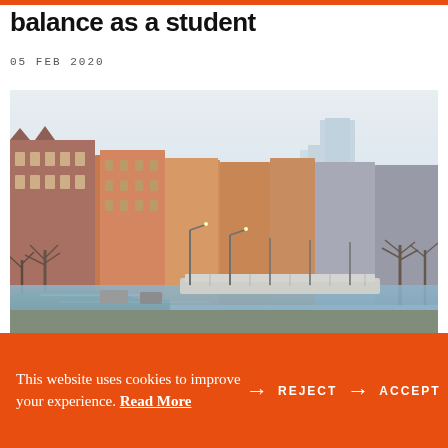balance as a student
05 FEB 2020
[Figure (photo): Street view of a European city canal with rows of historic red-brick and orange apartment buildings, bare winter trees, and a modern high-rise in the misty background]
This website uses cookies to improve your experience. Read More REJECT ACCEPT